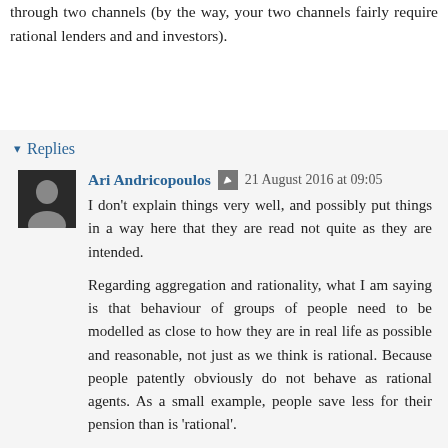through two channels (by the way, your two channels fairly require rational lenders and and investors).
Reply
Replies
Ari Andricopoulos · 21 August 2016 at 09:05
I don't explain things very well, and possibly put things in a way here that they are read not quite as they are intended.
Regarding aggregation and rationality, what I am saying is that behaviour of groups of people need to be modelled as close to how they are in real life as possible and reasonable, not just as we think is rational. Because people patently obviously do not behave as rational agents. As a small example, people save less for their pension than is 'rational'.
My real problem is that the 'rationality' used by mainstream economics about spending and saving